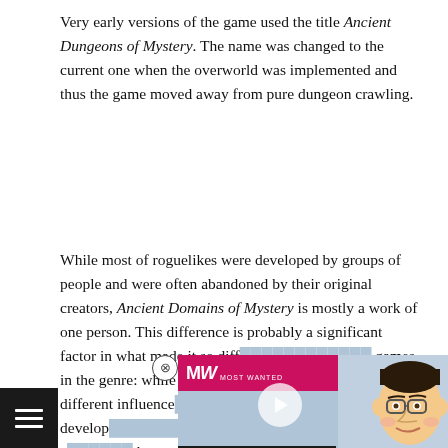Very early versions of the game used the title Ancient Dungeons of Mystery. The name was changed to the current one when the overworld was implemented and thus the game moved away from pure dungeon crawling.
While most of roguelikes were developed by groups of people and were often abandoned by their original creators, Ancient Domains of Mystery is mostly a work of one person. This difference is probably a significant factor in what made it so diff... games in the genre: while 'op... mixture of different influence... size and scope with develop... roguelike' is based around a c... humor or cultural references that were worldbuilding and... Its plot provides a background for the world and cters but it also stays in the background for the ...
[Figure (screenshot): An advertisement overlay showing a video thumbnail with MW (Most Wanted) logo in pink/magenta, a cartoon face of a person with glasses, a play button, and text reading 'BEST MATH GAMES']
[Figure (screenshot): Bottom-left hamburger menu icon with three white horizontal lines on dark background]